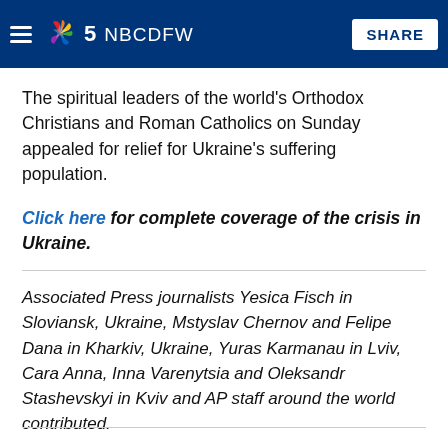NBC DFW — SHARE
The spiritual leaders of the world's Orthodox Christians and Roman Catholics on Sunday appealed for relief for Ukraine's suffering population.
Click here for complete coverage of the crisis in Ukraine.
Associated Press journalists Yesica Fisch in Sloviansk, Ukraine, Mstyslav Chernov and Felipe Dana in Kharkiv, Ukraine, Yuras Karmanau in Lviv, Cara Anna, Inna Varenytsia and Oleksandr Stashevskyi in Kviv and AP staff around the world contributed.